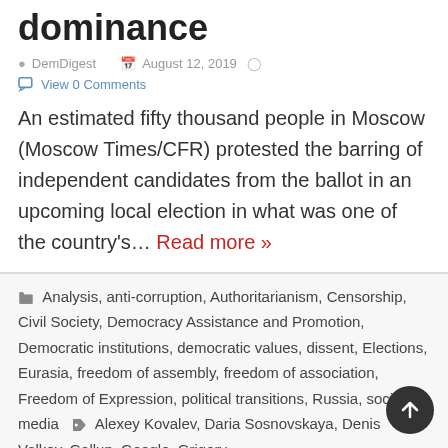dominance
DemDigest   August 12, 2019
View 0 Comments
An estimated fifty thousand people in Moscow (Moscow Times/CFR) protested the barring of independent candidates from the ballot in an upcoming local election in what was one of the country's… Read more »
Analysis, anti-corruption, Authoritarianism, Censorship, Civil Society, Democracy Assistance and Promotion, Democratic institutions, democratic values, dissent, Elections, Eurasia, freedom of assembly, freedom of association, Freedom of Expression, political transitions, Russia, social media   Alexey Kovalev, Daria Sosnovskaya, Denis Volkov, Gallup, Google, Grigory